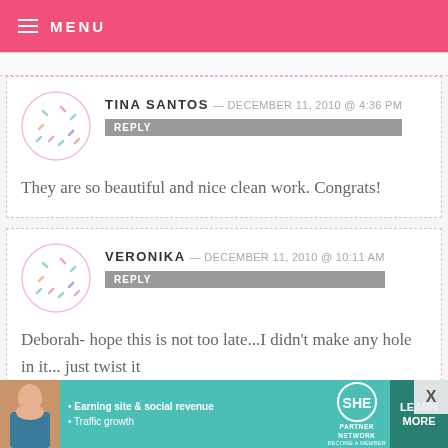MENU
TINA SANTOS — DECEMBER 11, 2010 @ 4:36 PM
REPLY
They are so beautiful and nice clean work. Congrats!
VERONIKA — DECEMBER 11, 2010 @ 10:11 AM
REPLY
Deborah- hope this is not too late...I didn't make any hole in it... just twist it
[Figure (other): SHE Partner Network advertisement banner with photo of woman, bullet points about earning site & social revenue and traffic growth, SHE logo, and LEARN MORE button]